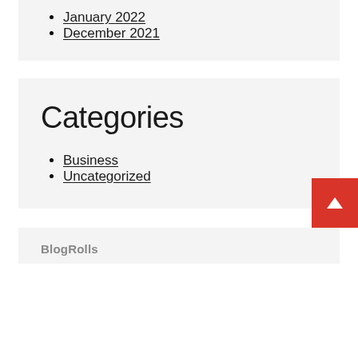January 2022
December 2021
Categories
Business
Uncategorized
BlogRolls